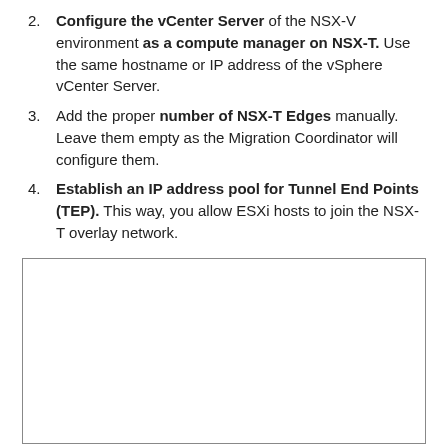Configure the vCenter Server of the NSX-V environment as a compute manager on NSX-T. Use the same hostname or IP address of the vSphere vCenter Server.
Add the proper number of NSX-T Edges manually. Leave them empty as the Migration Coordinator will configure them.
Establish an IP address pool for Tunnel End Points (TEP). This way, you allow ESXi hosts to join the NSX-T overlay network.
[Figure (other): Empty white box with border, likely a placeholder for a screenshot or diagram.]